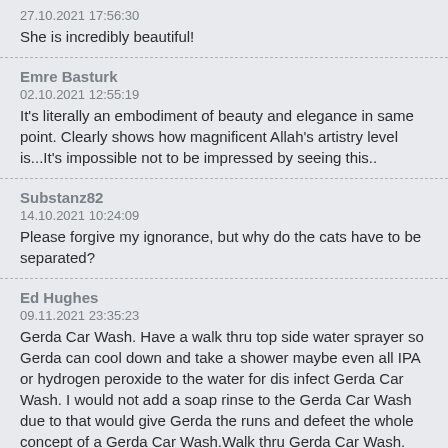27.10.2021 17:56:30
She is incredibly beautiful!
Emre Basturk
02.10.2021 12:55:19
It's literally an embodiment of beauty and elegance in same point. Clearly shows how magnificent Allah's artistry level is...It's impossible not to be impressed by seeing this..
Substanz82
14.10.2021 10:24:09
Please forgive my ignorance, but why do the cats have to be separated?
Ed Hughes
09.11.2021 23:35:23
Gerda Car Wash. Have a walk thru top side water sprayer so Gerda can cool down and take a shower maybe even all IPA or hydrogen peroxide to the water for dis infect Gerda Car Wash. I would not add a soap rinse to the Gerda Car Wash due to that would give Gerda the runs and defeet the whole concept of a Gerda Car Wash.Walk thru Gerda Car Wash.
Gerda Mauve